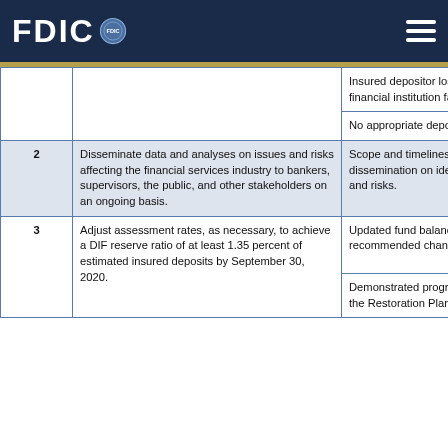FDIC
| # | Description | Measure | Actions |
| --- | --- | --- | --- |
|  |  | Insured depositor losses resulting from a financial institution failure. | Depositors do... |
|  |  |  | No appropriate depositors. |
| 2 | Disseminate data and analyses on issues and risks affecting the financial services industry to bankers, supervisors, the public, and other stakeholders on an ongoing basis. | Scope and timeliness of information dissemination on identified or potential issues and risks. | Disseminate re... manner through other means. |
|  |  |  | Undertake indu... and other stake... and other avail... |
| 3 | Adjust assessment rates, as necessary, to achieve a DIF reserve ratio of at least 1.35 percent of estimated insured deposits by September 30, 2020. | Updated fund balance projections and recommended changes to assessment rates. | Provide update... Board of Direct... 2017. |
|  |  |  | Recommend c... rates to the FD... |
|  |  | Demonstrated progress in achieving the goals of the Restoration Plan. | Provide progre... by June 30, 20... |